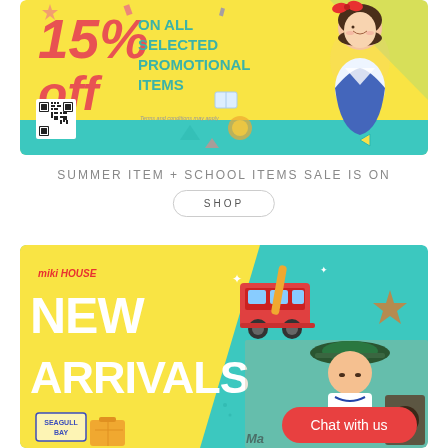[Figure (illustration): Promotional banner with yellow and teal background showing '15% off on all selected promotional items' with an anime-style girl character, QR code, decorative stars and shapes. Terms and conditions may apply.]
SUMMER ITEM + SCHOOL ITEMS SALE IS ON
SHOP
[Figure (illustration): Miki House New Arrivals promotional banner with teal and yellow background, showing a child wearing a bucket hat, a vintage VW bus illustration, 'Seagull Bay' stamp logo, and 'Chat with us' red button.]